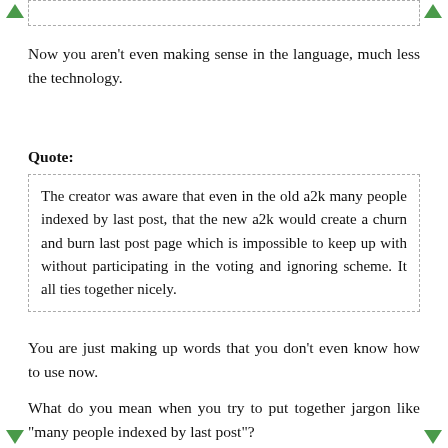[partial quoted text at top — continuation from previous page]
Now you aren't even making sense in the language, much less the technology.
Quote:
The creator was aware that even in the old a2k many people indexed by last post, that the new a2k would create a churn and burn last post page which is impossible to keep up with without participating in the voting and ignoring scheme. It all ties together nicely.
You are just making up words that you don't even know how to use now.
What do you mean when you try to put together jargon like "many people indexed by last post"?